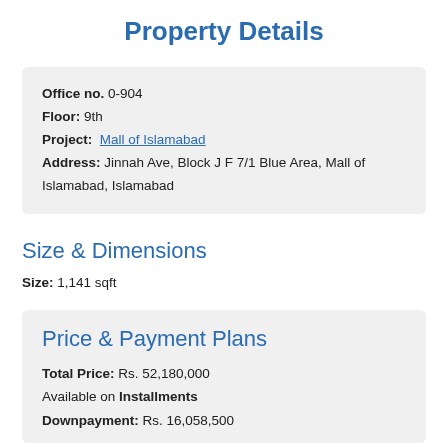Property Details
Office no. 0-904
Floor: 9th
Project: Mall of Islamabad
Address: Jinnah Ave, Block J F 7/1 Blue Area, Mall of Islamabad, Islamabad
Size & Dimensions
Size: 1,141 sqft
Price & Payment Plans
Total Price: Rs. 52,180,000
Available on Installments
Downpayment: Rs. 16,058,500